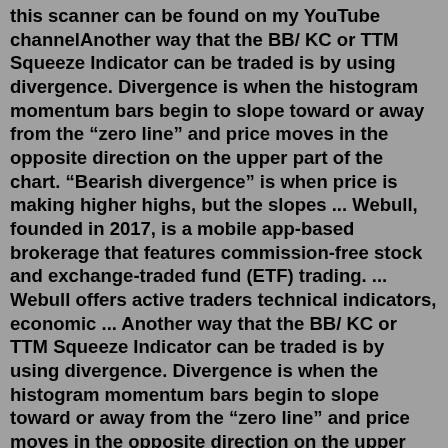this scanner can be found on my YouTube channelAnother way that the BB/ KC or TTM Squeeze Indicator can be traded is by using divergence. Divergence is when the histogram momentum bars begin to slope toward or away from the "zero line" and price moves in the opposite direction on the upper part of the chart. "Bearish divergence" is when price is making higher highs, but the slopes ... Webull, founded in 2017, is a mobile app-based brokerage that features commission-free stock and exchange-traded fund (ETF) trading. ... Webull offers active traders technical indicators, economic ... Another way that the BB/ KC or TTM Squeeze Indicator can be traded is by using divergence. Divergence is when the histogram momentum bars begin to slope toward or away from the "zero line" and price moves in the opposite direction on the upper part of the chart. "Bearish divergence" is when price is making higher highs, but the slopes ... Market Cipher DBSI. (Dual Band Strength Index) is an all-encompassing momentum indicator which uses a -5 to